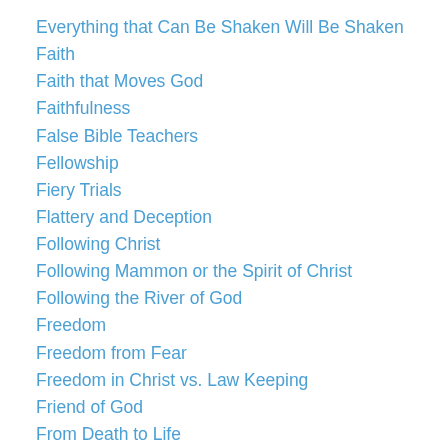Everything that Can Be Shaken Will Be Shaken
Faith
Faith that Moves God
Faithfulness
False Bible Teachers
Fellowship
Fiery Trials
Flattery and Deception
Following Christ
Following Mammon or the Spirit of Christ
Following the River of God
Freedom
Freedom from Fear
Freedom in Christ vs. Law Keeping
Friend of God
From Death to Life
God and Country vs. the Kingdom of God
God's Consuming Fire
God's Judgment on the Apostate Church
God's Nature – Male and Female